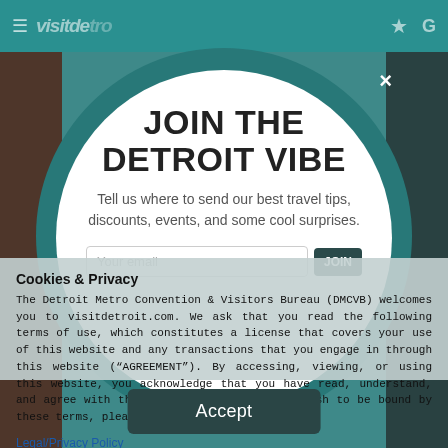[Figure (screenshot): Mobile website screenshot showing visitdetroit.com with teal navigation bar at top and blurred page content in background]
JOIN THE DETROIT VIBE
Tell us where to send our best travel tips, discounts, events, and some cool surprises.
Your email   JOIN
Cookies & Privacy
The Detroit Metro Convention & Visitors Bureau (DMCVB) welcomes you to visitdetroit.com. We ask that you read the following terms of use, which constitutes a license that covers your use of this website and any transactions that you engage in through this website (“AGREEMENT”). By accessing, viewing, or using this website, you acknowledge that you have read, understand, and agree with these terms. If you do not wish to be bound by these terms, please do not use this website.
Legal/Privacy Policy
Accept